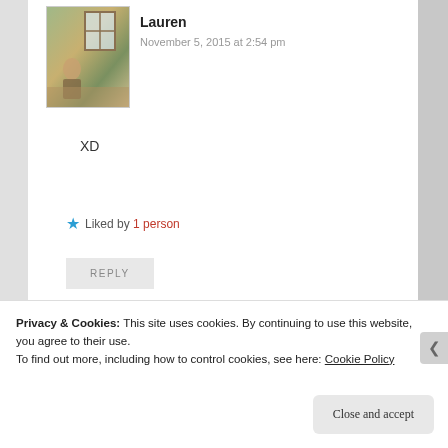[Figure (photo): Avatar thumbnail image of a painting showing an interior scene with window]
Lauren
November 5, 2015 at 2:54 pm
XD
★ Liked by 1 person
REPLY
[Figure (infographic): WordPress VIP advertisement banner with 'Learn more →' button on gradient background]
REPORT THIS AD
Privacy & Cookies: This site uses cookies. By continuing to use this website, you agree to their use.
To find out more, including how to control cookies, see here: Cookie Policy
Close and accept